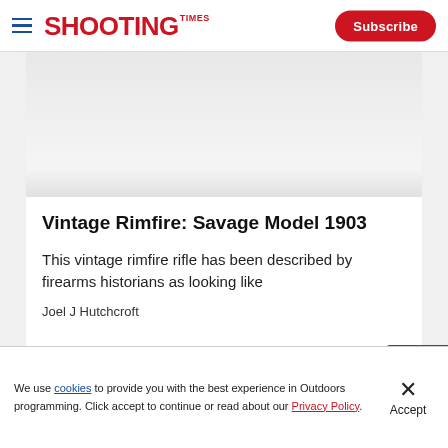SHOOTING TIMES | Subscribe
[Figure (photo): Article hero image area (light gray placeholder)]
Vintage Rimfire: Savage Model 1903
This vintage rimfire rifle has been described by firearms historians as looking like
Joel J Hutchcroft
Advertisement
We use cookies to provide you with the best experience in Outdoors programming. Click accept to continue or read about our Privacy Policy.